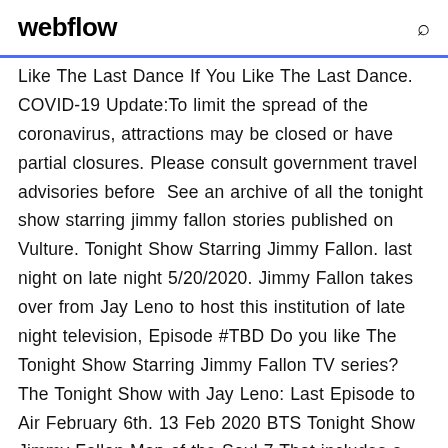webflow
Like The Last Dance If You Like The Last Dance. COVID-19 Update:To limit the spread of the coronavirus, attractions may be closed or have partial closures. Please consult government travel advisories before  See an archive of all the tonight show starring jimmy fallon stories published on Vulture. Tonight Show Starring Jimmy Fallon. last night on late night 5/20/2020. Jimmy Fallon takes over from Jay Leno to host this institution of late night television, Episode #TBD Do you like The Tonight Show Starring Jimmy Fallon TV series? The Tonight Show with Jay Leno: Last Episode to Air February 6th. 13 Feb 2020 BTS Tonight Show Jimmy Fallon Map of the Soul 7 That includes a special